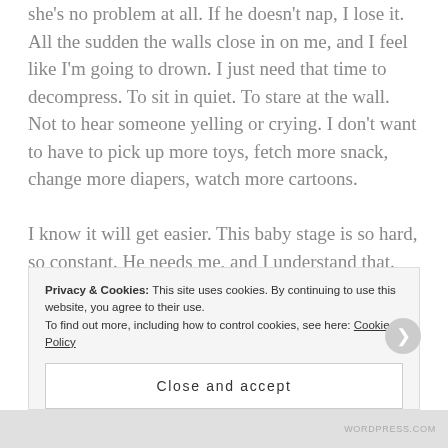she's no problem at all. If he doesn't nap, I lose it. All the sudden the walls close in on me, and I feel like I'm going to drown. I just need that time to decompress. To sit in quiet. To stare at the wall. Not to hear someone yelling or crying. I don't want to have to pick up more toys, fetch more snack, change more diapers, watch more cartoons.

I know it will get easier. This baby stage is so hard, so constant. He needs me, and I understand that. I'm glad to be there for him, most of the time, but there comes a point in every day where I just can't
Privacy & Cookies: This site uses cookies. By continuing to use this website, you agree to their use. To find out more, including how to control cookies, see here: Cookie Policy
Close and accept